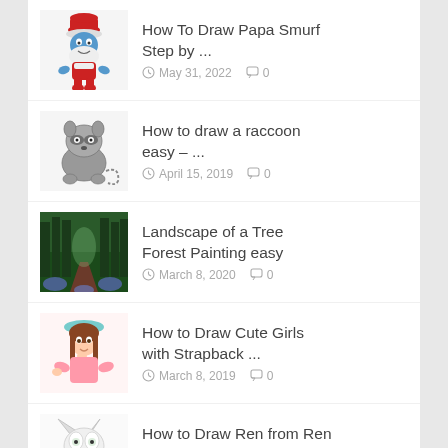How To Draw Papa Smurf Step by ... — May 31, 2022  0
How to draw a raccoon easy – ... — April 15, 2019  0
Landscape of a Tree Forest Painting easy — March 8, 2020  0
How to Draw Cute Girls with Strapback ... — March 8, 2019  0
How to Draw Ren from Ren and ... — June 22, 2022  0